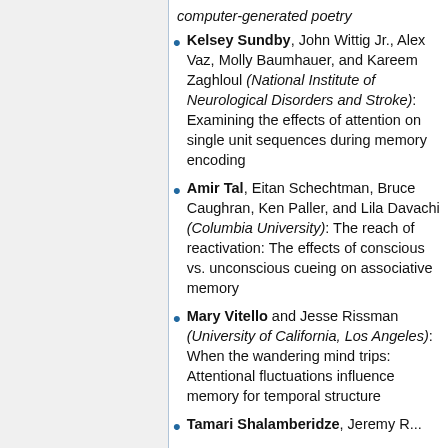computer-generated poetry
Kelsey Sundby, John Wittig Jr., Alex Vaz, Molly Baumhauer, and Kareem Zaghloul (National Institute of Neurological Disorders and Stroke): Examining the effects of attention on single unit sequences during memory encoding
Amir Tal, Eitan Schechtman, Bruce Caughran, Ken Paller, and Lila Davachi (Columbia University): The reach of reactivation: The effects of conscious vs. unconscious cueing on associative memory
Mary Vitello and Jesse Rissman (University of California, Los Angeles): When the wandering mind trips: Attentional fluctuations influence memory for temporal structure
Tamari Shalamberidze, Jeremy R...